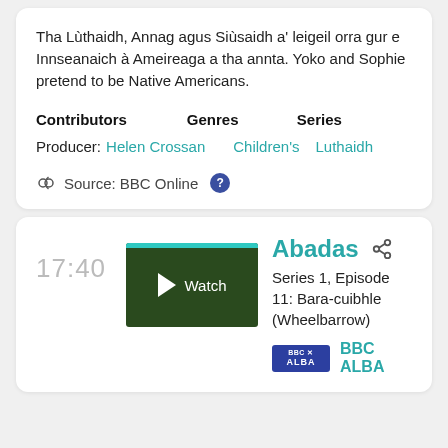Tha Lùthaidh, Annag agus Siùsaidh a' leigeil orra gur e Innseanaich à Ameireaga a tha annta. Yoko and Sophie pretend to be Native Americans.
| Contributors | Genres | Series |
| --- | --- | --- |
| Producer: Helen Crossan | Children's | Luthaidh |
Source: BBC Online ?
17:40
[Figure (screenshot): Dark green thumbnail image with teal top bar, showing a play button triangle and the text 'Watch']
Abadas
Series 1, Episode 11: Bara-cuibhle (Wheelbarrow)
BBC ALBA